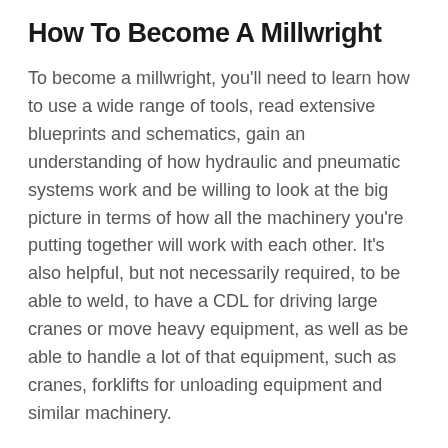How To Become A Millwright
To become a millwright, you'll need to learn how to use a wide range of tools, read extensive blueprints and schematics, gain an understanding of how hydraulic and pneumatic systems work and be willing to look at the big picture in terms of how all the machinery you're putting together will work with each other. It's also helpful, but not necessarily required, to be able to weld, to have a CDL for driving large cranes or move heavy equipment, as well as be able to handle a lot of that equipment, such as cranes, forklifts for unloading equipment and similar machinery.
Some trade schools offer training in becoming a millwright, which provides you with an